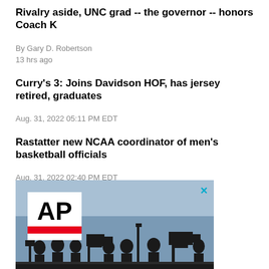Rivalry aside, UNC grad -- the governor -- honors Coach K
By Gary D. Robertson
13 hrs ago
Curry's 3: Joins Davidson HOF, has jersey retired, graduates
Aug. 31, 2022 05:11 PM EDT
Rastatter new NCAA coordinator of men's basketball officials
Aug. 31, 2022 02:40 PM EDT
[Figure (photo): AP News advertisement banner showing AP logo with silhouettes of camera operators and media crew against a blue sky background, with a close (X) button in the top right corner.]